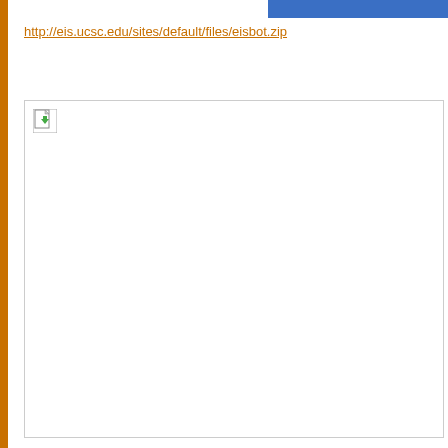http://eis.ucsc.edu/sites/default/files/eisbot.zip
[Figure (other): Broken image placeholder inside a bordered white box]